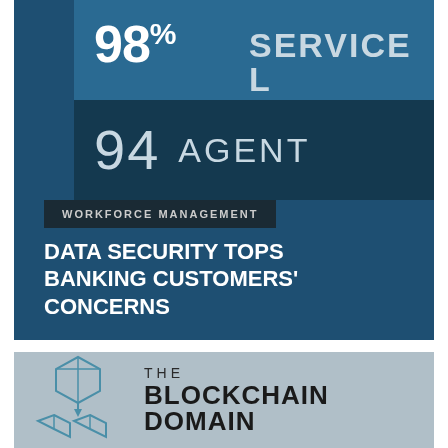[Figure (infographic): Dark blue card showing workforce management stats: 98% SERVICE LEVEL and 94 AGENTS, with label 'WORKFORCE MANAGEMENT']
DATA SECURITY TOPS BANKING CUSTOMERS' CONCERNS
[Figure (logo): The Blockchain Domain logo with teal blockchain cube icon and bold dark text reading THE BLOCKCHAIN DOMAIN on grey background]